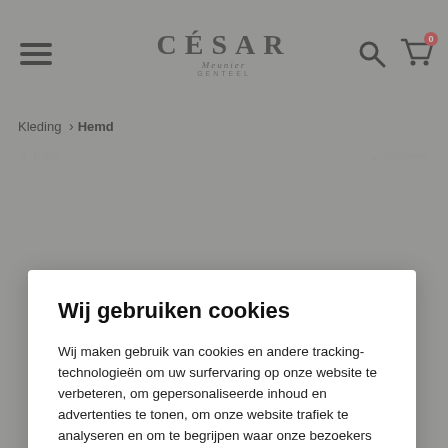[Figure (screenshot): Website header with hamburger menu icon on left, César Meunier Genteel logo in center, search and cart icons on right]
Kleding > Hemd
Wij gebruiken cookies
Wij maken gebruik van cookies en andere tracking-technologieën om uw surfervaring op onze website te verbeteren, om gepersonaliseerde inhoud en advertenties te tonen, om onze website trafiek te analyseren en om te begrijpen waar onze bezoekers vandaan komen.
Ik begrijp het